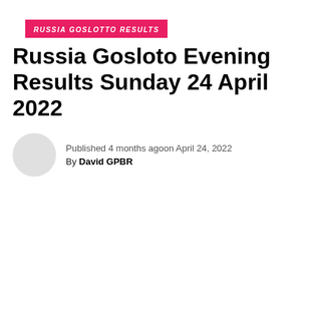RUSSIA GOSLOTTO RESULTS
Russia Gosloto Evening Results Sunday 24 April 2022
Published 4 months agoon April 24, 2022
By David GPBR